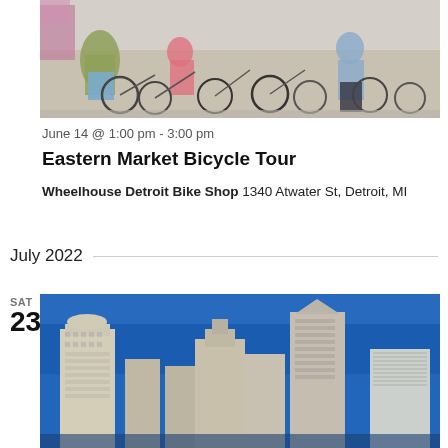[Figure (photo): Group of cyclists with bicycles gathered at outdoor location, crowded scene with bikes and people in summer clothing]
June 14 @ 1:00 pm - 3:00 pm
Eastern Market Bicycle Tour
Wheelhouse Detroit Bike Shop 1340 Atwater St, Detroit, MI
July 2022
SAT
23
[Figure (photo): Detroit city skyline with tall skyscrapers and buildings against a bright blue sky]